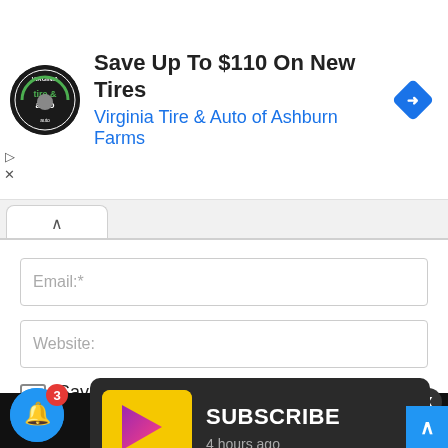[Figure (screenshot): Advertisement banner for Virginia Tire & Auto of Ashburn Farms with circular logo, headline 'Save Up To $110 On New Tires', blue subtitle, and blue diamond direction icon]
[Figure (screenshot): Browser tab with up chevron icon]
Email:*
Website:
Save my name, email, and website in this browser for the next time I comment.
[Figure (screenshot): POST COMMENT dark button bar with X close button overlay]
[Figure (screenshot): SUBSCRIBE popup notification with yellow/colorful logo thumbnail and '4 hours ago' text]
[Figure (screenshot): Blue bell notification button with red badge showing '3']
[Figure (screenshot): Blue scroll-to-top button at bottom right]